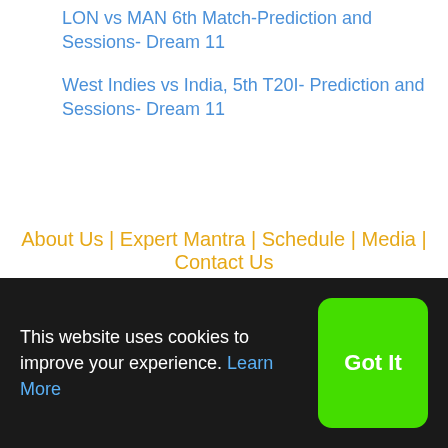LON vs MAN 6th Match-Prediction and Sessions- Dream 11
West Indies vs India, 5th T20I- Prediction and Sessions- Dream 11
About Us | Expert Mantra | Schedule | Media | Contact Us
[Figure (other): 18+ responsible gambling banner with age restriction badge on left and decorative icon on right, text: RESPONSIBLE GAMBLING / BEGAMBLEAWARE]
This website uses cookies to improve your experience. Learn More